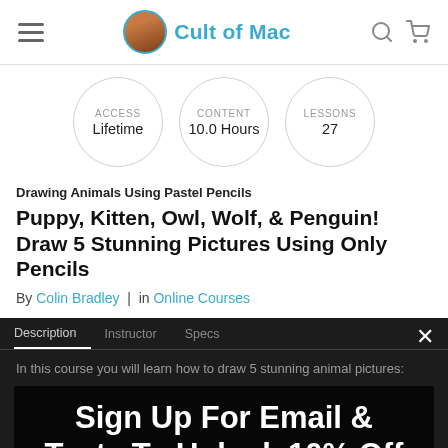Cult of Mac
ACCESS Lifetime | CONTENT 10.0 Hours | LESSONS 27
Drawing Animals Using Pastel Pencils
Puppy, Kitten, Owl, Wolf, & Penguin! Draw 5 Stunning Pictures Using Only Pencils
By Colin Bradley | in Online Courses
Description | Instructor | Specs
In this course you will learn how to draw 5 stunning animal pictures:
Sign Up For Email & Texts To Unlock 10% Off